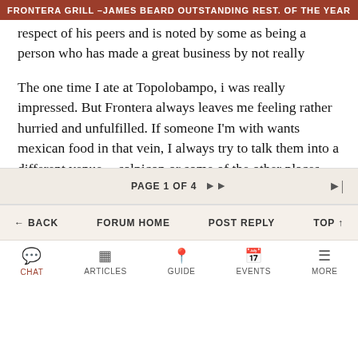FRONTERA GRILL - JAMES BEARD OUTSTANDING REST. OF THE YEAR
respect of his peers and is noted by some as being a person who has made a great business by not really selling out on his original values. He's definitely commercial but he's still "keeping it real".
The one time I ate at Topolobampo, i was really impressed. But Frontera always leaves me feeling rather hurried and unfulfilled. If someone I'm with wants mexican food in that vein, I always try to talk them into a different venue -- salpicon or some of the other places that do that style.
On an unrelated note -- isn't it annoying when you
PAGE 1 OF 4
← BACK   FORUM HOME   POST REPLY   TOP ↑
CHAT   ARTICLES   GUIDE   EVENTS   MORE